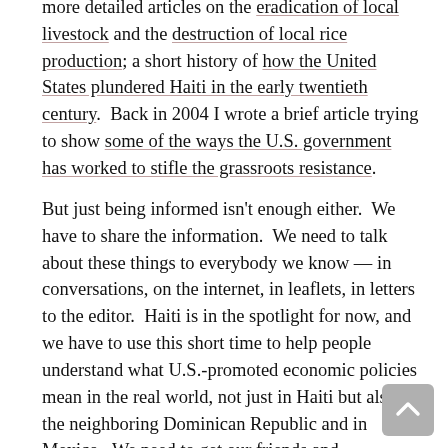more detailed articles on the eradication of local livestock and the destruction of local rice production; a short history of how the United States plundered Haiti in the early twentieth century.  Back in 2004 I wrote a brief article trying to show some of the ways the U.S. government has worked to stifle the grassroots resistance.
But just being informed isn't enough either.  We have to share the information.  We need to talk about these things to everybody we know — in conversations, on the internet, in leaflets, in letters to the editor.  Haiti is in the spotlight for now, and we have to use this short time to help people understand what U.S.-promoted economic policies mean in the real world, not just in Haiti but also in the neighboring Dominican Republic and in Mexico.  We need to get our friends and coworkers together to watch Life and Debt, a powerful documentary on what these policies did to Jamaica, just a few hundred miles west of Port-au-Prince.  And we need to think about the effect of these policies on